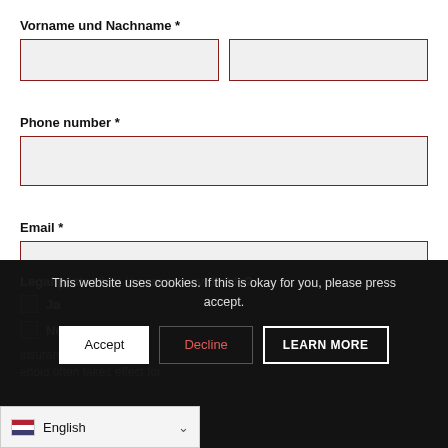Vorname und Nachname *
[Figure (screenshot): Two side-by-side input fields for first name and last name, both with red borders and light grey background]
Phone number *
[Figure (screenshot): Full-width input field for phone number with red border and light grey background]
Email *
[Figure (screenshot): Full-width input field for email with red border and light grey background]
Legal protection insurance available? *
Ja
No
This website uses cookies. If this is okay for you, please press accept.
LEARN MORE insurance for household often takes effect for
English